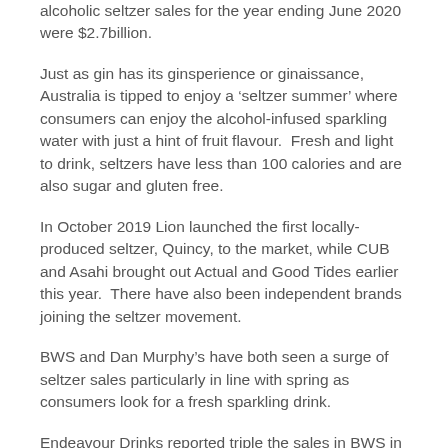alcoholic seltzer sales for the year ending June 2020 were $2.7billion.
Just as gin has its ginsperience or ginaissance, Australia is tipped to enjoy a ‘seltzer summer’ where consumers can enjoy the alcohol-infused sparkling water with just a hint of fruit flavour. Fresh and light to drink, seltzers have less than 100 calories and are also sugar and gluten free.
In October 2019 Lion launched the first locally-produced seltzer, Quincy, to the market, while CUB and Asahi brought out Actual and Good Tides earlier this year. There have also been independent brands joining the seltzer movement.
BWS and Dan Murphy’s have both seen a surge of seltzer sales particularly in line with spring as consumers look for a fresh sparkling drink.
Endeavour Drinks reported triple the sales in BWS in the first week of spring, while searches on Dan Murphy’s online platform went up 57% with an